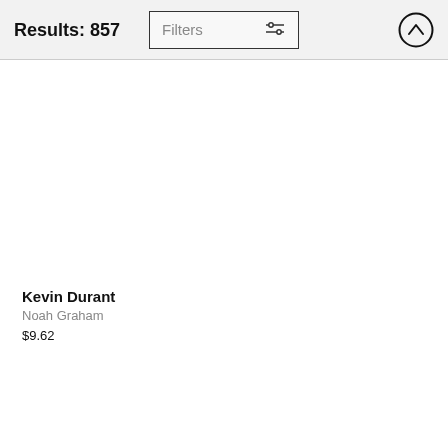Results: 857 | Filters | [up arrow button]
Kevin Durant
Noah Graham
$9.62